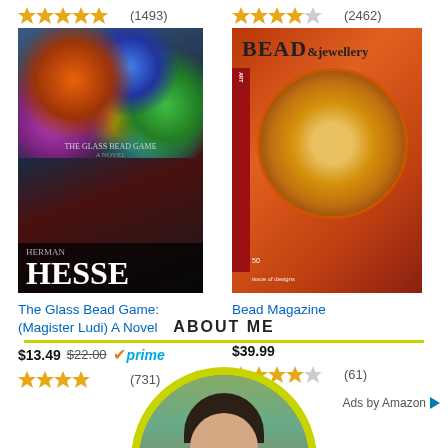[Figure (screenshot): Amazon ad showing two products in two columns. Left: The Glass Bead Game book with 4.5-star rating (1493 reviews), price $13.49 (was $22.00), Prime eligible, 4.5 stars (731 reviews). Right: Bead Magazine with 4.5-star rating (2462 reviews), price $39.99, 4 stars (61 reviews). Bottom right: Ads by Amazon logo.]
ABOUT ME
[Figure (photo): Profile photo of a person with short dark hair inside a circular frame with yellow-green border, partially cropped at bottom of page.]